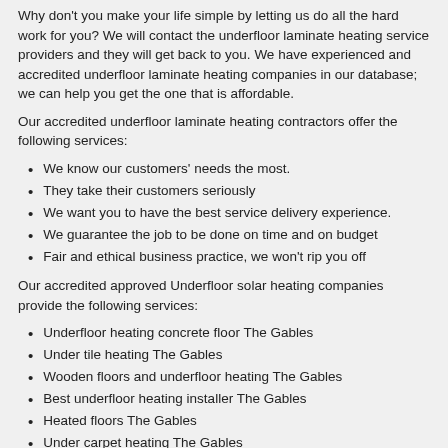Why don’t you make your life simple by letting us do all the hard work for you? We will contact the underfloor laminate heating service providers and they will get back to you. We have experienced and accredited underfloor laminate heating companies in our database; we can help you get the one that is affordable.
Our accredited underfloor laminate heating contractors offer the following services:
We know our customers' needs the most.
They take their customers seriously
We want you to have the best service delivery experience.
We guarantee the job to be done on time and on budget
Fair and ethical business practice, we won't rip you off
Our accredited approved Underfloor solar heating companies provide the following services:
Underfloor heating concrete floor The Gables
Under tile heating The Gables
Wooden floors and underfloor heating The Gables
Best underfloor heating installer The Gables
Heated floors The Gables
Under carpet heating The Gables
Underfloor heating price The Gables
Underfloor heating installation The Gables
Solar powered underfloor heating The Gables
Underfloor solar heating companies The Gables